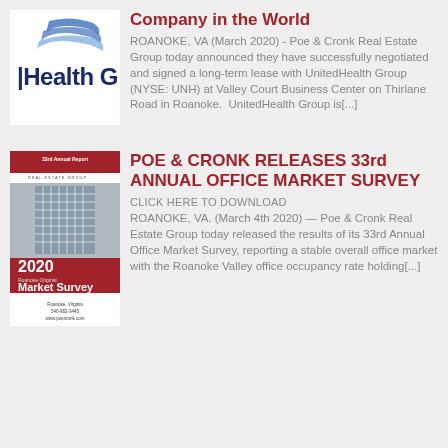[Figure (logo): UnitedHealth Group logo with blue swoosh and 'Health G' text in dark blue]
Company in the World
ROANOKE, VA (March 2020) - Poe & Cronk Real Estate Group today announced they have successfully negotiated and signed a long-term lease with UnitedHealth Group (NYSE: UNH) at Valley Court Business Center on Thirlane Road in Roanoke. UnitedHealth Group is[...]
[Figure (photo): Poe & Cronk 33rd Annual Report 2020 Market Survey cover with building facade photo]
POE & CRONK RELEASES 33rd ANNUAL OFFICE MARKET SURVEY
CLICK HERE TO DOWNLOAD
ROANOKE, VA. (March 4th 2020) — Poe & Cronk Real Estate Group today released the results of its 33rd Annual Office Market Survey, reporting a stable overall office market with the Roanoke Valley office occupancy rate holding[...]